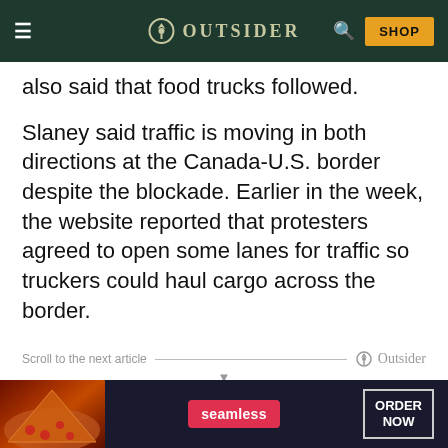OUTSIDER
also said that food trucks followed.
Slaney said traffic is moving in both directions at the Canada-U.S. border despite the blockade. Earlier in the week, the website reported that protesters agreed to open some lanes for traffic so truckers could haul cargo across the border.
Scroll to the next article
[Figure (screenshot): Advertisement banner for Seamless food delivery showing pizza image, Seamless logo in red, and ORDER NOW button]